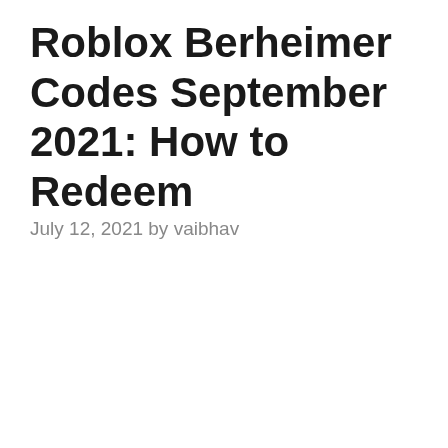Roblox Berheimer Codes September 2021: How to Redeem
July 12, 2021 by vaibhav